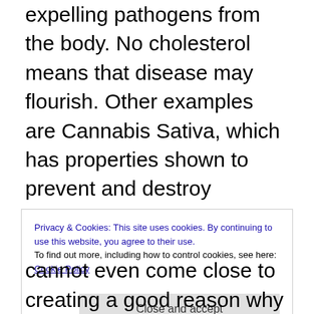expelling pathogens from the body. No cholesterol means that disease may flourish. Other examples are Cannabis Sativa, which has properties shown to prevent and destroy diseases like cancer. We are currently experiencing the total genetic alteration of this miracle plant by companies like Monsanto seeking to genetically alter it so as to patent and control its use. The therapeutic uses, therefore, are being bred out of the plant and who knows what is being bred into it. Both marijuana and cholesterol are proven to prevent the spread of prion disease, but only in their natural form. Genetically altered stains will be useless for
Privacy & Cookies: This site uses cookies. By continuing to use this website, you agree to their use.
To find out more, including how to control cookies, see here: Cookie Policy
cannot even come close to creating a good reason why